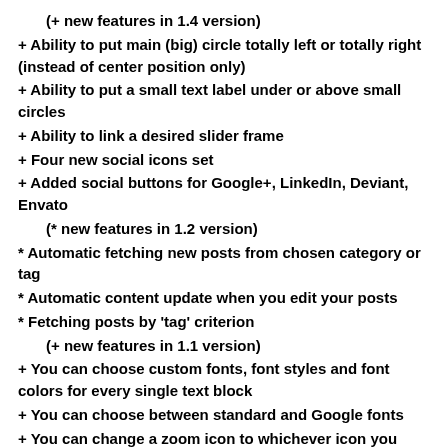(+ new features in 1.4 version)
+ Ability to put main (big) circle totally left or totally right (instead of center position only)
+ Ability to put a small text label under or above small circles
+ Ability to link a desired slider frame
+ Four new social icons set
+ Added social buttons for Google+, LinkedIn, Deviant, Envato
(* new features in 1.2 version)
* Automatic fetching new posts from chosen category or tag
* Automatic content update when you edit your posts
* Fetching posts by 'tag' criterion
(+ new features in 1.1 version)
+ You can choose custom fonts, font styles and font colors for every single text block
+ You can choose between standard and Google fonts
+ You can change a zoom icon to whichever icon you want
+ You can change color of buttons